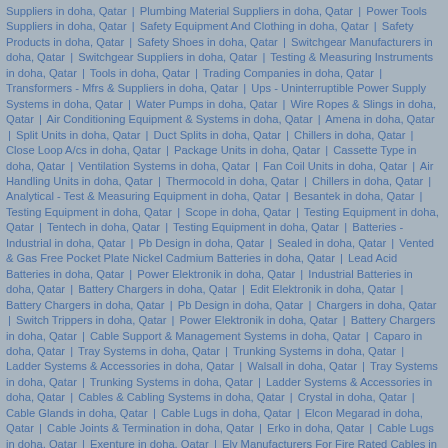Suppliers in doha, Qatar | Plumbing Material Suppliers in doha, Qatar | Power Tools Suppliers in doha, Qatar | Safety Equipment And Clothing in doha, Qatar | Safety Products in doha, Qatar | Safety Shoes in doha, Qatar | Switchgear Manufacturers in doha, Qatar | Switchgear Suppliers in doha, Qatar | Testing & Measuring Instruments in doha, Qatar | Tools in doha, Qatar | Trading Companies in doha, Qatar | Transformers - Mfrs & Suppliers in doha, Qatar | Ups - Uninterruptible Power Supply Systems in doha, Qatar | Water Pumps in doha, Qatar | Wire Ropes & Slings in doha, Qatar | Air Conditioning Equipment & Systems in doha, Qatar | Amena in doha, Qatar | Split Units in doha, Qatar | Duct Splits in doha, Qatar | Chillers in doha, Qatar | Close Loop A/cs in doha, Qatar | Package Units in doha, Qatar | Cassette Type in doha, Qatar | Ventilation Systems in doha, Qatar | Fan Coil Units in doha, Qatar | Air Handling Units in doha, Qatar | Thermocold in doha, Qatar | Chillers in doha, Qatar | Analytical - Test & Measuring Equipment in doha, Qatar | Besantek in doha, Qatar | Testing Equipment in doha, Qatar | Scope in doha, Qatar | Testing Equipment in doha, Qatar | Tentech in doha, Qatar | Testing Equipment in doha, Qatar | Batteries - Industrial in doha, Qatar | Pb Design in doha, Qatar | Sealed in doha, Qatar | Vented & Gas Free Pocket Plate Nickel Cadmium Batteries in doha, Qatar | Lead Acid Batteries in doha, Qatar | Power Elektronik in doha, Qatar | Industrial Batteries in doha, Qatar | Battery Chargers in doha, Qatar | Edit Elektronik in doha, Qatar | Battery Chargers in doha, Qatar | Pb Design in doha, Qatar | Chargers in doha, Qatar | Switch Trippers in doha, Qatar | Power Elektronik in doha, Qatar | Battery Chargers in doha, Qatar | Cable Support & Management Systems in doha, Qatar | Caparo in doha, Qatar | Tray Systems in doha, Qatar | Trunking Systems in doha, Qatar | Ladder Systems & Accessories in doha, Qatar | Walsall in doha, Qatar | Tray Systems in doha, Qatar | Trunking Systems in doha, Qatar | Ladder Systems & Accessories in doha, Qatar | Cables & Cabling Systems in doha, Qatar | Crystal in doha, Qatar | Cable Glands in doha, Qatar | Cable Lugs in doha, Qatar | Elcon Megarad in doha, Qatar | Cable Joints & Termination in doha, Qatar | Erko in doha, Qatar | Cable Lugs in doha, Qatar | Exenture in doha, Qatar | Elv Manufacturers For Fire Rated Cables in doha, Qatar | Fire Alarm in doha, Qatar | Home Automation in doha, Qatar | Voice Evacuation in doha, Qatar | Public Address in doha, Qatar | Cctv in doha, Qatar | Ups & Light Control Systems in doha, Qatar | Gala in doha, Qatar | Cable Joints & Termination in doha, Qatar | Cable Lugs in doha, Qatar | Cable Accessories in doha, Qatar